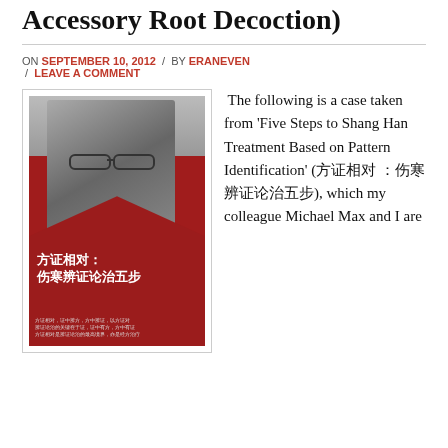Accessory Root Decoction)
ON SEPTEMBER 10, 2012 / BY ERANEVEN / LEAVE A COMMENT
[Figure (photo): Book cover of 'Five Steps to Shang Han Treatment Based on Pattern Identification' (方证相对：伤寒辨证论治五步), showing an elderly man with glasses on a red background with Chinese text]
The following is a case taken from 'Five Steps to Shang Han Treatment Based on Pattern Identification' (方证相对：伤寒辨证论治五步), which my colleague Michael Max and I are